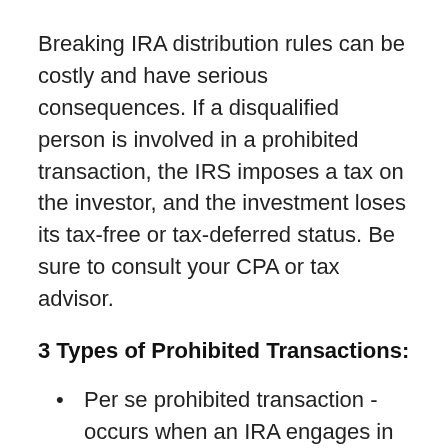Breaking IRA distribution rules can be costly and have serious consequences. If a disqualified person is involved in a prohibited transaction, the IRS imposes a tax on the investor, and the investment loses its tax-free or tax-deferred status. Be sure to consult your CPA or tax advisor.
3 Types of Prohibited Transactions:
Per se prohibited transaction - occurs when an IRA engages in transactions with a disqualified person.